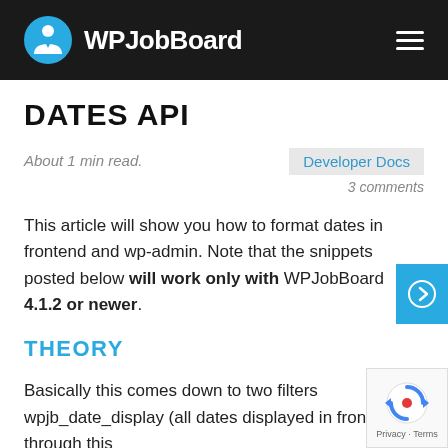WPJobBoard
DATES API
About 1 min read.
Developer Docs
3 comments
This article will show you how to format dates in frontend and wp-admin. Note that the snippets posted below will work only with WPJobBoard 4.1.2 or newer.
THEORY
Basically this comes down to two filters wpjb_date_display (all dates displayed in frontend go through this